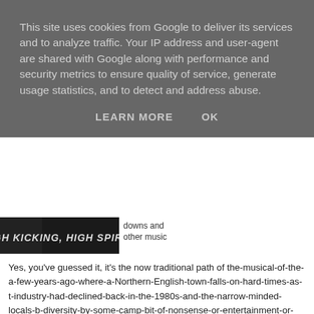This site uses cookies from Google to deliver its services and to analyze traffic. Your IP address and user-agent are shared with Google along with performance and security metrics to ensure quality of service, generate usage statistics, and to detect and address abuse.
LEARN MORE    OK
[Figure (photo): Partial view of a movie/show promotional image with bold italic text reading 'A HIGH KICKING, HIGH SPIRITED']
downs and other music
Yes, you've guessed it, it's the now traditional path of the-musical-of-the-a-few-years-ago-where-a-Northern-English-town-falls-on-hard-times-as-t-industry-had-declined-back-in-the-1980s-and-the-narrow-minded-locals-b-diversity-by-some-camp-bit-of-nonsense-or-entertainment-or-culture-that-of-povety-or-whatever. Yes, I'm looking at you Billy Elliot, Made In Dage Brassed Off, Calendar Girls, Pride et al.
And we can all see the storyboard of these shows... It Was Great Back T Young Person Says I've Got An Idea To Put Things Right! No One Thinks Dramatic One On One Showdown Changes Mind Of Lead Characters! E Idea Now! Everyone Pulls Together! It All Goes Wrong Right Towards Th Thought It Was A Bad Idea At First Now Steps In And Saves The Day It A the idea.